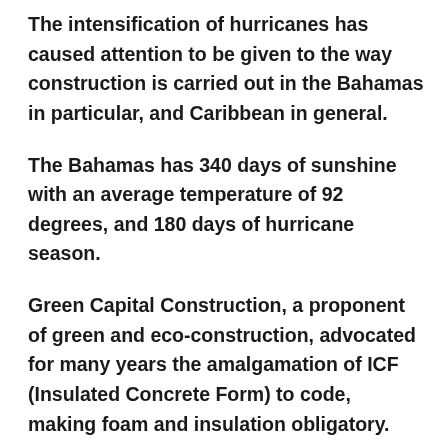The intensification of hurricanes has caused attention to be given to the way construction is carried out in the Bahamas in particular, and Caribbean in general.
The Bahamas has 340 days of sunshine with an average temperature of 92 degrees, and 180 days of hurricane season.
Green Capital Construction, a proponent of green and eco-construction, advocated for many years the amalgamation of ICF (Insulated Concrete Form) to code, making foam and insulation obligatory.